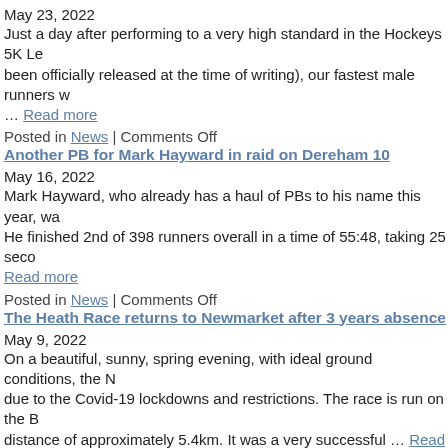May 23, 2022
Just a day after performing to a very high standard in the Hockeys 5K Le been officially released at the time of writing), our fastest male runners w … Read more
Posted in News | Comments Off
Another PB for Mark Hayward in raid on Dereham 10
May 16, 2022
Mark Hayward, who already has a haul of PBs to his name this year, wa He finished 2nd of 398 runners overall in a time of 55:48, taking 25 seco Read more
Posted in News | Comments Off
The Heath Race returns to Newmarket after 3 years absence
May 9, 2022
On a beautiful, sunny, spring evening, with ideal ground conditions, the N due to the Covid-19 lockdowns and restrictions. The race is run on the B distance of approximately 5.4km. It was a very successful … Read more
Posted in News | Comments Off
Newmarket Joggers busy over May Day Bank Holiday weekend
May 3, 2022
Easily the biggest running event on May Bank Holiday Monday was the V Buckingham Palace. One notable participant was Mo Farah, who won th squeezed into 2nd place by the much younger, … Read more
Posted in News | Comments Off